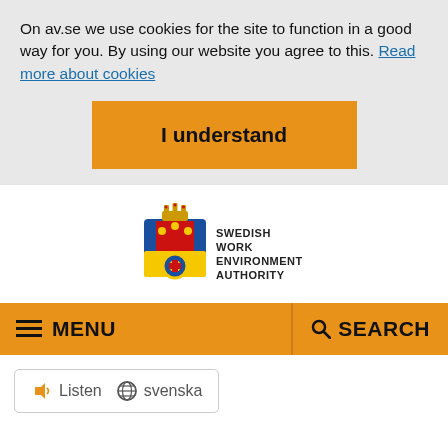On av.se we use cookies for the site to function in a good way for you. By using our website you agree to this. Read more about cookies
I understand
[Figure (logo): Swedish Work Environment Authority coat of arms logo with crown, blue/yellow shield, red/gold gear and cross elements, with text SWEDISH WORK ENVIRONMENT AUTHORITY]
MENU
SEARCH
Listen  svenska